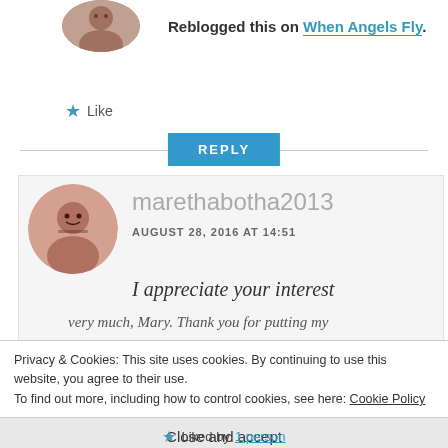[Figure (photo): Circular avatar photo of a person at top left]
Reblogged this on When Angels Fly.
★ Like
REPLY
[Figure (photo): Circular avatar photo of marethabotha2013 — a woman with glasses and dark hair]
marethabotha2013
AUGUST 28, 2016 AT 14:51
I appreciate your interest
very much, Mary. Thank you for putting my
Privacy & Cookies: This site uses cookies. By continuing to use this website, you agree to their use.
To find out more, including how to control cookies, see here: Cookie Policy
Close and accept
★ Liked by 1 person